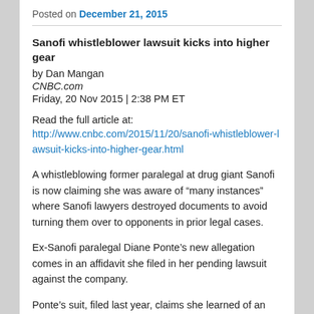Posted on December 21, 2015
Sanofi whistleblower lawsuit kicks into higher gear
by Dan Mangan
CNBC.com
Friday, 20 Nov 2015 | 2:38 PM ET
Read the full article at:
http://www.cnbc.com/2015/11/20/sanofi-whistleblower-lawsuit-kicks-into-higher-gear.html
A whistleblowing former paralegal at drug giant Sanofi is now claiming she was aware of "many instances" where Sanofi lawyers destroyed documents to avoid turning them over to opponents in prior legal cases.
Ex-Sanofi paralegal Diane Ponte's new allegation comes in an affidavit she filed in her pending lawsuit against the company.
Ponte's suit, filed last year, claims she learned of an alleged scheme at Sanofi to pay more than $30 million in